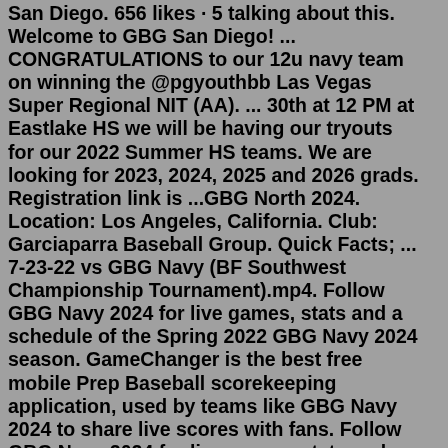San Diego. 656 likes · 5 talking about this. Welcome to GBG San Diego! ... CONGRATULATIONS to our 12u navy team on winning the @pgyouthbb Las Vegas Super Regional NIT (AA). ... 30th at 12 PM at Eastlake HS we will be having our tryouts for our 2022 Summer HS teams. We are looking for 2023, 2024, 2025 and 2026 grads. Registration link is ...GBG North 2024. Location: Los Angeles, California. Club: Garciaparra Baseball Group. Quick Facts; ... 7-23-22 vs GBG Navy (BF Southwest Championship Tournament).mp4. Follow GBG Navy 2024 for live games, stats and a schedule of the Spring 2022 GBG Navy 2024 season. GameChanger is the best free mobile Prep Baseball scorekeeping application, used by teams like GBG Navy 2024 to share live scores with fans. Follow GBG Navy 2024 for live games, stats and a schedule of the Spring 2022 GBG Navy 2024 season. GameChanger is the best free mobile Prep Baseball scorekeeping application, used by teams like GBG Navy 2024 to share live scores with fans. Gbg Navy 2024 Gm# 10. 6/22/2022 12:00 PM.